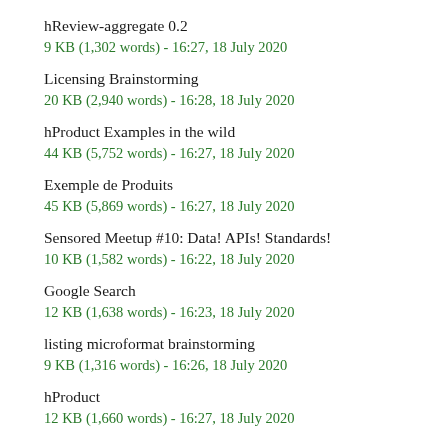hReview-aggregate 0.2
9 KB (1,302 words) - 16:27, 18 July 2020
Licensing Brainstorming
20 KB (2,940 words) - 16:28, 18 July 2020
hProduct Examples in the wild
44 KB (5,752 words) - 16:27, 18 July 2020
Exemple de Produits
45 KB (5,869 words) - 16:27, 18 July 2020
Sensored Meetup #10: Data! APIs! Standards!
10 KB (1,582 words) - 16:22, 18 July 2020
Google Search
12 KB (1,638 words) - 16:23, 18 July 2020
listing microformat brainstorming
9 KB (1,316 words) - 16:26, 18 July 2020
hProduct
12 KB (1,660 words) - 16:27, 18 July 2020